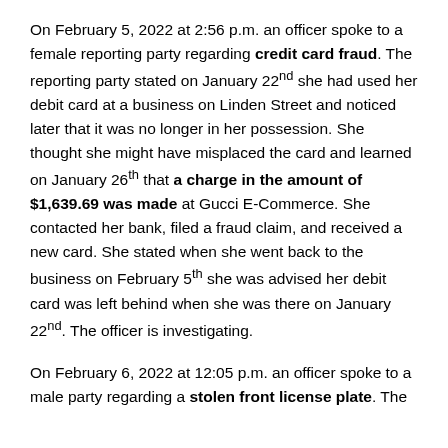On February 5, 2022 at 2:56 p.m. an officer spoke to a female reporting party regarding credit card fraud. The reporting party stated on January 22nd she had used her debit card at a business on Linden Street and noticed later that it was no longer in her possession. She thought she might have misplaced the card and learned on January 26th that a charge in the amount of $1,639.69 was made at Gucci E-Commerce. She contacted her bank, filed a fraud claim, and received a new card. She stated when she went back to the business on February 5th she was advised her debit card was left behind when she was there on January 22nd. The officer is investigating.
On February 6, 2022 at 12:05 p.m. an officer spoke to a male party regarding a stolen front license plate. The